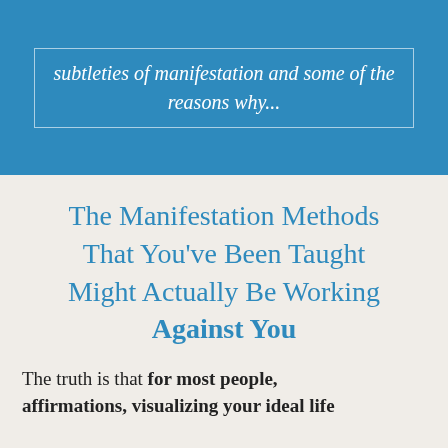subtleties of manifestation and some of the reasons why...
The Manifestation Methods That You've Been Taught Might Actually Be Working Against You
The truth is that for most people, affirmations, visualizing your ideal life